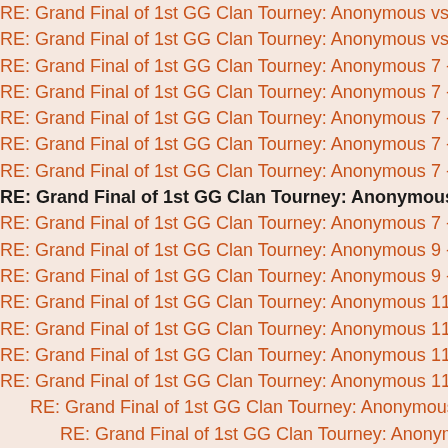RE: Grand Final of 1st GG Clan Tourney: Anonymous vs Diamo
RE: Grand Final of 1st GG Clan Tourney: Anonymous vs Diamo
RE: Grand Final of 1st GG Clan Tourney: Anonymous 7 - 0 Dia
RE: Grand Final of 1st GG Clan Tourney: Anonymous 7 - 0 Dia
RE: Grand Final of 1st GG Clan Tourney: Anonymous 7 - 0 Dia
RE: Grand Final of 1st GG Clan Tourney: Anonymous 7 - 1 Dia
RE: Grand Final of 1st GG Clan Tourney: Anonymous 7 - 1 Dia
RE: Grand Final of 1st GG Clan Tourney: Anonymous 7 -
RE: Grand Final of 1st GG Clan Tourney: Anonymous 7 - 1 Dia
RE: Grand Final of 1st GG Clan Tourney: Anonymous 9 - 2 Dia
RE: Grand Final of 1st GG Clan Tourney: Anonymous 9 - 2 Dia
RE: Grand Final of 1st GG Clan Tourney: Anonymous 11 - 2 Da
RE: Grand Final of 1st GG Clan Tourney: Anonymous 11 - 2 Da
RE: Grand Final of 1st GG Clan Tourney: Anonymous 11 - 4 Da
RE: Grand Final of 1st GG Clan Tourney: Anonymous 11 - 4 Da
RE: Grand Final of 1st GG Clan Tourney: Anonymous 11 - 4 D
RE: Grand Final of 1st GG Clan Tourney: Anonymous 11 - 4
RE: Grand Final of 1st GG Clan Tourney: Anonymous 11 - 4 Da
RE: Grand Final of 1st GG Clan Tourney: Anonymous 14 - 7 Da
RE: Grand Final of 1st GG Clan Tourney: Anonymous 14 - 7 Da
RE: Grand Final of 1st GG Clan Tourney: Anonymous 14 - 7 D
RE: Grand Final of 1st GG Clan Tourney: Anonymous 14 - 7 D